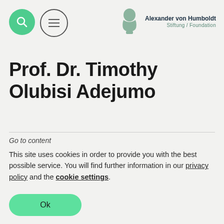Alexander von Humboldt Stiftung/Foundation
Prof. Dr. Timothy Olubisi Adejumo
Go to content
This site uses cookies in order to provide you with the best possible service. You will find further information in our privacy policy and the cookie settings.
Ok